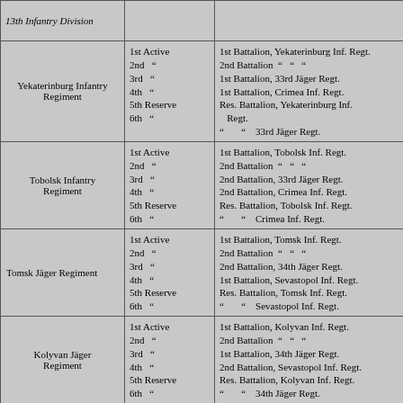| Regiment | Battalion | Formed from |
| --- | --- | --- |
| 13th Infantry Division |  |  |
| Yekaterinburg Infantry Regiment | 1st Active
2nd "
3rd "
4th "
5th Reserve
6th " | 1st Battalion, Yekaterinburg Inf. Regt.
2nd Battalion " " "
1st Battalion, 33rd Jäger Regt.
1st Battalion, Crimea Inf. Regt.
Res. Battalion, Yekaterinburg Inf. Regt.
" " 33rd Jäger Regt. |
| Tobolsk Infantry Regiment | 1st Active
2nd "
3rd "
4th "
5th Reserve
6th " | 1st Battalion, Tobolsk Inf. Regt.
2nd Battalion " " "
2nd Battalion, 33rd Jäger Regt.
2nd Battalion, Crimea Inf. Regt.
Res. Battalion, Tobolsk Inf. Regt.
" " Crimea Inf. Regt. |
| Tomsk Jäger Regiment | 1st Active
2nd "
3rd "
4th "
5th Reserve
6th " | 1st Battalion, Tomsk Inf. Regt.
2nd Battalion " " "
2nd Battalion, 34th Jäger Regt.
1st Battalion, Sevastopol Inf. Regt.
Res. Battalion, Tomsk Inf. Regt.
" " Sevastopol Inf. Regt. |
| Kolyvan Jäger Regiment | 1st Active
2nd "
3rd "
4th "
5th Reserve
6th " | 1st Battalion, Kolyvan Inf. Regt.
2nd Battalion " " "
1st Battalion, 34th Jäger Regt.
2nd Battalion, Sevastopol Inf. Regt.
Res. Battalion, Kolyvan Inf. Regt.
" " 34th Jäger Regt. |
| 14th Infantry Division |  |  |